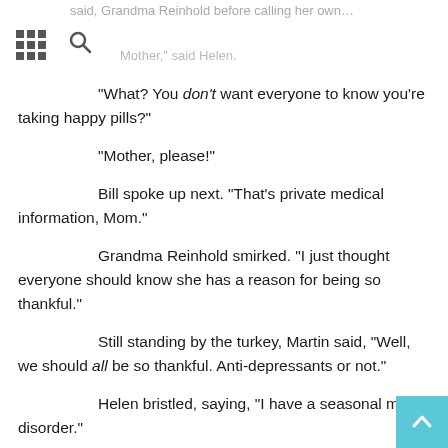said, Grandma Reinhold before calling her own... Mother, said Helen.
“What? You don’t want everyone to know you’re taking happy pills?”
“Mother, please!”
Bill spoke up next. “That’s private medical information, Mom.”
Grandma Reinhold smirked. “I just thought everyone should know she has a reason for being so thankful.”
Still standing by the turkey, Martin said, “Well, we should all be so thankful. Anti-depressants or not.”
Helen bristled, saying, “I have a seasonal mood disorder.”
Grandpa Reinhold leaned forward. “A gray day can get anyone down.”